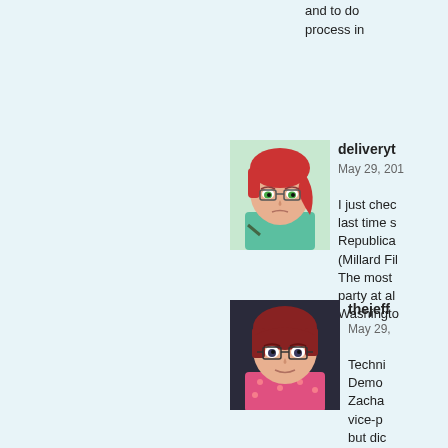and to do process in
deliveryt
May 29, 201
I just chec last time s Republica (Millard Fil The most party at al Washingto
[Figure (illustration): Cartoon avatar of a person with red hair and green eyes wearing a teal shirt]
thejeff
May 29,
Techni Demo Zacha vice-p but dic
Not co was el Repub collaps crises Whigs